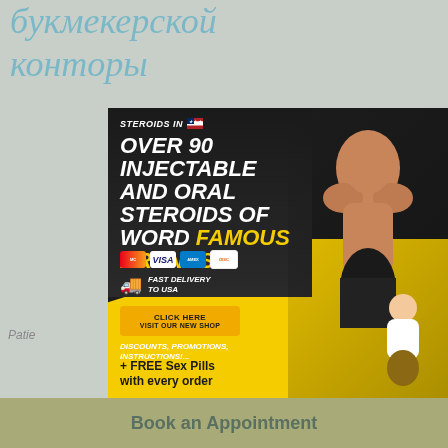букмекерской конторы
[Figure (infographic): Advertisement banner for steroids shop. Dark background with muscular man. Text: STEROIDS IN [US flag] OVER 90 INJECTABLE AND ORAL STEROIDS OF WORD FAMOUS BRANDS! Payment icons (Mastercard, Visa, Amex, Discover). Fast delivery to USA. Click here visit our new shop button. Discounts, promotions, instructions!... + FREE Sex Pills with every order. Woman figure pointing.]
Patie
Book an Appointment